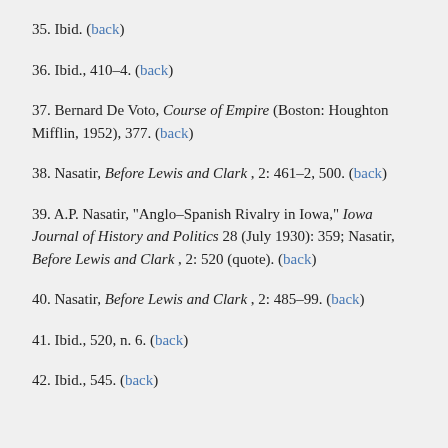35. Ibid. (back)
36. Ibid., 410–4. (back)
37. Bernard De Voto, Course of Empire (Boston: Houghton Mifflin, 1952), 377. (back)
38. Nasatir, Before Lewis and Clark , 2: 461–2, 500. (back)
39. A.P. Nasatir, "Anglo–Spanish Rivalry in Iowa," Iowa Journal of History and Politics 28 (July 1930): 359; Nasatir, Before Lewis and Clark , 2: 520 (quote). (back)
40. Nasatir, Before Lewis and Clark , 2: 485–99. (back)
41. Ibid., 520, n. 6. (back)
42. Ibid., 545. (back)